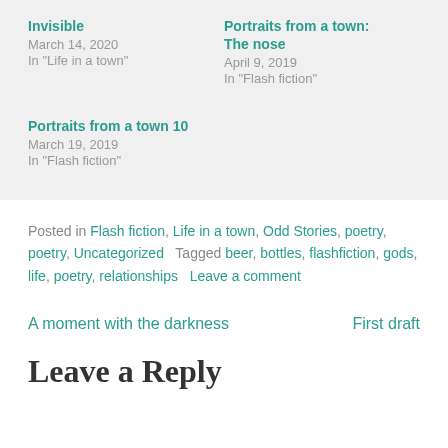Invisible
March 14, 2020
In "Life in a town"
Portraits from a town:
The nose
April 9, 2019
In "Flash fiction"
Portraits from a town 10
March 19, 2019
In "Flash fiction"
Posted in Flash fiction, Life in a town, Odd Stories, poetry, poetry, Uncategorized   Tagged beer, bottles, flashfiction, gods, life, poetry, relationships   Leave a comment
A moment with the darkness
First draft
Leave a Reply